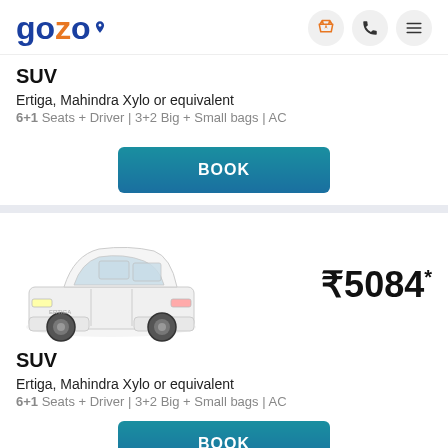gozo
SUV
Ertiga, Mahindra Xylo or equivalent
6+1 Seats + Driver | 3+2 Big + Small bags | AC
BOOK
[Figure (photo): White Maruti Ertiga SUV/MPV car, 3/4 front view]
₹5084*
SUV
Ertiga, Mahindra Xylo or equivalent
6+1 Seats + Driver | 3+2 Big + Small bags | AC
BOOK